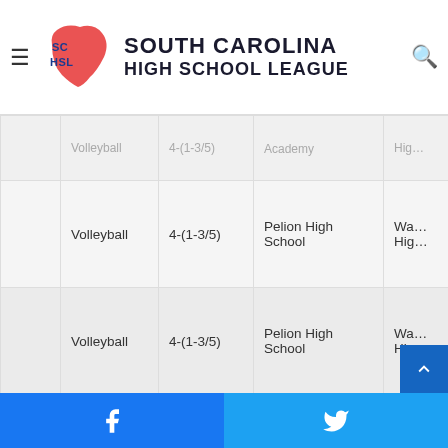South Carolina High School League
|  | Sport | Classification | Home Team | Away Team |
| --- | --- | --- | --- | --- |
|  |  |  | Academy | Hig… |
|  | Volleyball | 4-(1-3/5) | Pelion High School | Wa… Hig… |
|  | Volleyball | 4-(1-3/5) | Pelion High School | Wa… Hig… |
|  | Volleyball | 4-(1-3/5) | Philip Simmons High School | Tim… Hig… |
|  |  |  | Richland | Dr… |
Facebook | Twitter